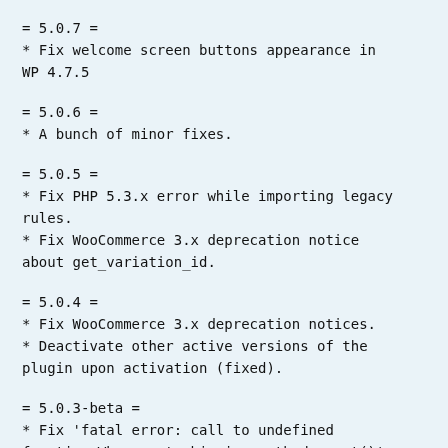= 5.0.7 =
* Fix welcome screen buttons appearance in WP 4.7.5
= 5.0.6 =
* A bunch of minor fixes.
= 5.0.5 =
* Fix PHP 5.3.x error while importing legacy rules.
* Fix WooCommerce 3.x deprecation notice about get_variation_id.
= 5.0.4 =
* Fix WooCommerce 3.x deprecation notices.
* Deactivate other active versions of the plugin upon activation (fixed).
= 5.0.3-beta =
* Fix 'fatal error: call to undefined function Wbsws_get_shipping_method_count()'